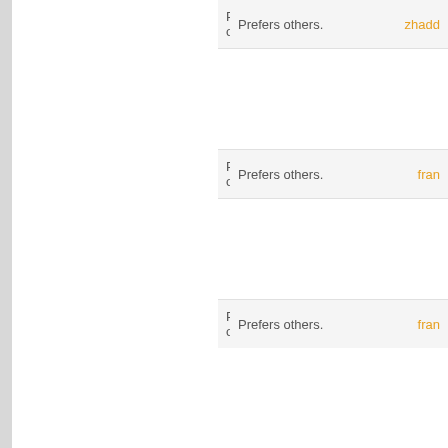Prefers others. franz85
Prefers others. zhadd
Prefers others. iedham nugro...
Prefers others. fran
Prefers others. franz85
Prefers others. fran